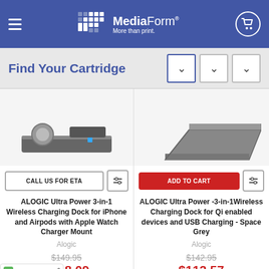MediaForm – More than print.
Find Your Cartridge
[Figure (photo): ALOGIC Ultra Power 3-in-1 Wireless Charging Dock for iPhone and Airpods with Apple Watch Charger Mount – product photo]
[Figure (photo): ALOGIC Ultra Power -3-in-1 Wireless Charging Dock for Qi enabled devices and USB Charging – Space Grey – product photo]
CALL US FOR ETA
ADD TO CART
ALOGIC Ultra Power 3-in-1 Wireless Charging Dock for iPhone and Airpods with Apple Watch Charger Mount
Alogic
$149.95
$118.09
ALOGIC Ultra Power -3-in-1Wireless Charging Dock for Qi enabled devices and USB Charging - Space Grey
Alogic
$142.95
$112.57
AWM-SGR
UR2OC10A-SGR
[Figure (logo): TrustedSite Certified Secure badge]